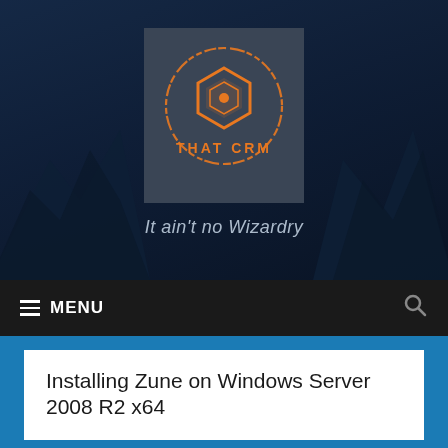[Figure (logo): That CRM logo: dark grey square background with an orange hexagon icon and circular brushstroke ring, text 'THAT CRM' in orange below the icon]
It ain't no Wizardry
≡ MENU
Installing Zune on Windows Server 2008 R2 x64